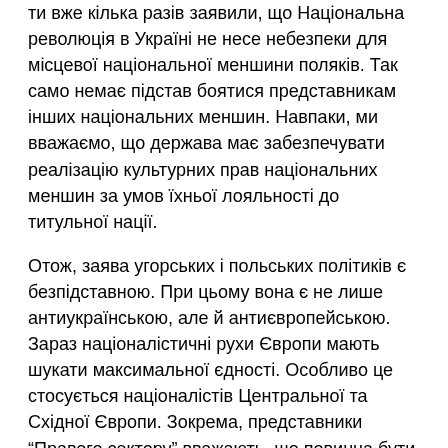ти вже кілька разів заявили, що Національна революція в Україні не несе небезпеки для місцевої національної меншини поляків. Так само немає підстав боятися представникам інших національних меншин. Навпаки, ми вважаємо, що держава має забезпечувати реалізацію культурних прав національних меншин за умов їхньої лояльності до титульної нації.
Отож, заява угорських і польських політиків є безпідставною. При цьому вона є не лише антиукраїнською, але й антиєвропейською. Зараз націоналістичні рухи Європи мають шукати максимальної єдності. Особливо це стосується націоналістів Центральної та Східної Європи. Зокрема, представники "Правого сектору" вважають, що повинна бути подоланою ворожнеча між українцями та поляками, українцями та угорцями, українцями та румунами, а також між румунами та угорцями.